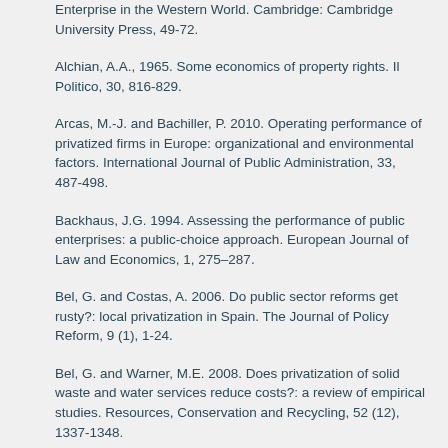Enterprise in the Western World. Cambridge: Cambridge University Press, 49-72.
Alchian, A.A., 1965. Some economics of property rights. Il Politico, 30, 816-829.
Arcas, M.-J. and Bachiller, P. 2010. Operating performance of privatized firms in Europe: organizational and environmental factors. International Journal of Public Administration, 33, 487-498.
Backhaus, J.G. 1994. Assessing the performance of public enterprises: a public-choice approach. European Journal of Law and Economics, 1, 275–287.
Bel, G. and Costas, A. 2006. Do public sector reforms get rusty?: local privatization in Spain. The Journal of Policy Reform, 9 (1), 1-24.
Bel, G. and Warner, M.E. 2008. Does privatization of solid waste and water services reduce costs?: a review of empirical studies. Resources, Conservation and Recycling, 52 (12), 1337-1348.
Bel, G., Fageda, X., and Warner, M.E. 2010. Is private production of public services cheaper than public production?: a meta-regression analysis of solid waste and water services. Annals of Public Administration and Management, 30 (4), 553-577.